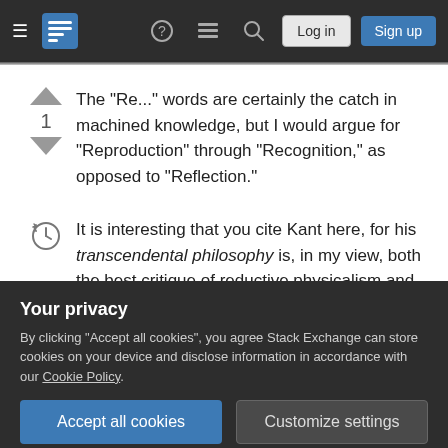Stack Exchange navigation bar with hamburger menu, logo, help, feed, search icons, Log in and Sign up buttons
The "Re..." words are certainly the catch in machined knowledge, but I would argue for "Reproduction" through "Recognition," as opposed to "Reflection."
It is interesting that you cite Kant here, for his transcendental philosophy is, in my view, both the best critique of reductive physicalism and potentially the best set of instructions for assembling fundamental concepts as integrated circuits into
electromagnetic oscillations produced by video
Your privacy
By clicking "Accept all cookies", you agree Stack Exchange can store cookies on your device and disclose information in accordance with our Cookie Policy.
Accept all cookies  Customize settings